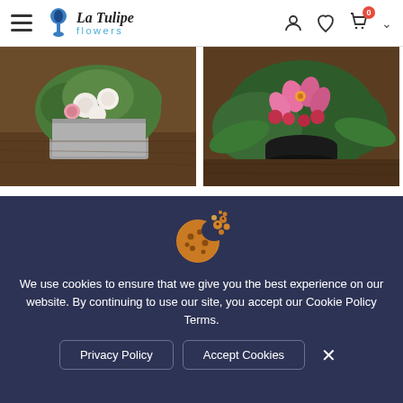La Tulipe flowers — navigation header with hamburger menu, logo, user icon, heart icon, cart icon (0), chevron
[Figure (photo): Floral arrangement with white and pink roses in a grey wooden box on a dark wooden table — product: Ainslee Moon]
[Figure (photo): Floral arrangement with pink lilies and red flowers in a dark bowl on a wooden table — product: Lily Skyrise]
Ainslee Moon
from: $156.00
Lily Skyrise
from: $108.00
[Figure (illustration): Cookie emoji illustration — chocolate chip cookie with crumbs flying]
We use cookies to ensure that we give you the best experience on our website. By continuing to use our site, you accept our Cookie Policy Terms.
Privacy Policy
Accept Cookies